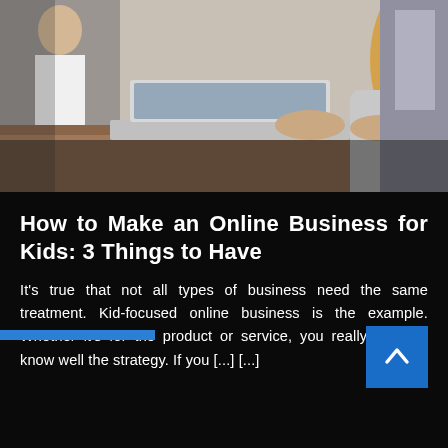[Figure (photo): A young woman with long blonde hair wearing a grey knit beanie, sitting at a desk working on a laptop. She is wearing a grey sweater. The background shows other people in an office/workspace setting.]
How to Make an Online Business for Kids: 3 Things to Have
It's true that not all types of business need the same treatment. Kid-focused online business is the example. Whether it's for the product or service, you really need to know well the strategy. If you [...] [...]